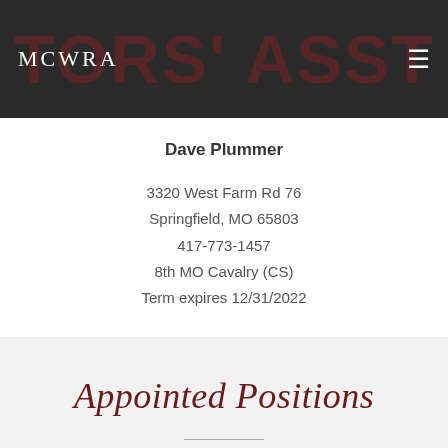MCWRA
Dave Plummer
3320 West Farm Rd 76
Springfield, MO 65803
417-773-1457
8th MO Cavalry (CS)
Term expires 12/31/2022
Appointed Positions